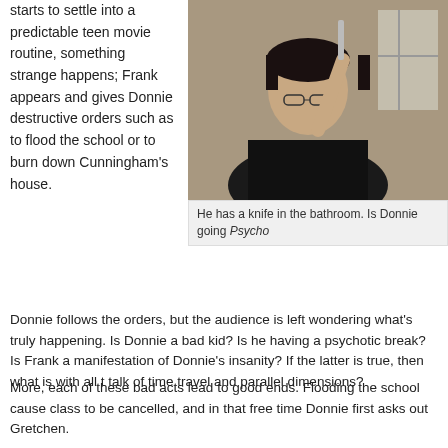starts to settle into a predictable teen movie routine, something strange happens; Frank appears and gives Donnie destructive orders such as to flood the school or to burn down Cunningham's house.
[Figure (photo): Young man in black t-shirt holding a knife up near his face, looking intensely at something off-camera, interior setting with window in background.]
He has a knife in the bathroom. Is Donnie going Psycho
Donnie follows the orders, but the audience is left wondering what's truly happening. Is Donnie a bad kid? Is he having a psychotic break? Is Frank a manifestation of Donnie's insanity? If the latter is true, then what is with all t talk of time travel and parallel dimensions?
More, each of these bad acts lead to good ends. Flooding the school cause class to be cancelled, and in that free time Donnie first asks out Gretchen. Then, in the ashes of Cunningham's home, a dungeon full of child pornography is discovered. It's implied that Swayze's character may be the head of a kiddie porn distribution ring, and Donnie's arson helped put an en to it.
Slowly, Donnie becomes convinced that Frank is from the future and that Donnie himself can see future events. He discusses this with Dr. Monnitoff